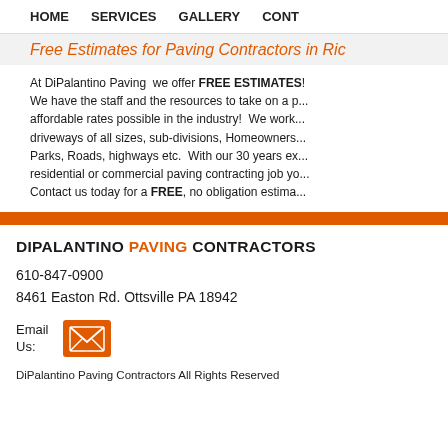HOME   SERVICES   GALLERY   CONT
Free Estimates for Paving Contractors in Ric
At DiPalantino Paving  we offer FREE ESTIMATES! We have the staff and the resources to take on a project at the most affordable rates possible in the industry!  We work on driveways of all sizes, sub-divisions, Homeowners Parks, Roads, highways etc.  With our 30 years ex… residential or commercial paving contracting job yo… Contact us today for a FREE, no obligation estima…
DIPALANTINO PAVING CONTRACTORS
610-847-0900
8461 Easton Rd. Ottsville PA 18942
Email Us:
[Figure (illustration): Orange envelope/email icon button]
DiPalantino Paving Contractors All Rights Reserved